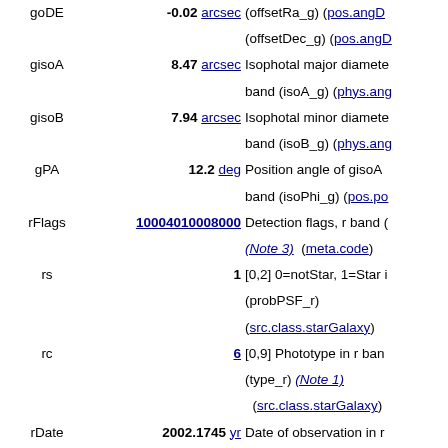| Name | Value | Description |
| --- | --- | --- |
| goDE | -0.02 arcsec | Offset of g position along (offsetRa_g) (offsetDec_g) (pos.angD... |
| gisoA | 8.47 arcsec | Isophotal major diameter band (isoA_g) (phys.ang... |
| gisoB | 7.94 arcsec | Isophotal minor diameter band (isoB_g) (phys.ang... |
| gPA | 12.2 deg | Position angle of gisoA band (isoPhi_g) (pos.po... |
| rFlags | 10004010008000 | Detection flags, r band (Note 3) (meta.code) |
| rs | 1 | [0,2] 0=notStar, 1=Star in r (probPSF_r) (src.class.starGalaxy) |
| rc | 6 | [0,9] Phototype in r band (type_r) (Note 1) (src.class.starGalaxy) |
| rDate | 2002.1745 yr | Date of observation in r (Note 6) (time.epoch) |
| r'mag | 17.022 mag | Model magnitude in r fi rmag) (Note 5) (phot.mag;em.opt.R) |
| e_r'mag | 0.005 mag | Mean error on r'mag (=... |